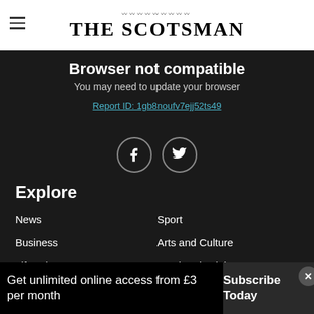THE SCOTSMAN
Browser not compatible
You may need to update your browser
Report ID: 1gb8noufv7ejj52ts49
[Figure (illustration): Facebook and Twitter social media icons in circles]
Explore
News
Sport
Business
Arts and Culture
Lifestyle
Food and Drink
Heritage and Retro
Future Scotland
More from The Scotsman
Get unlimited online access from £3 per month
Subscribe Today